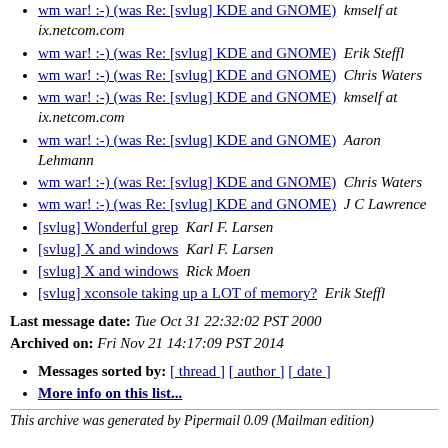wm war! :-) (was Re: [svlug] KDE and GNOME)  kmself at ix.netcom.com
wm war! :-) (was Re: [svlug] KDE and GNOME)  Erik Steffl
wm war! :-) (was Re: [svlug] KDE and GNOME)  Chris Waters
wm war! :-) (was Re: [svlug] KDE and GNOME)  kmself at ix.netcom.com
wm war! :-) (was Re: [svlug] KDE and GNOME)  Aaron Lehmann
wm war! :-) (was Re: [svlug] KDE and GNOME)  Chris Waters
wm war! :-) (was Re: [svlug] KDE and GNOME)  J C Lawrence
[svlug] Wonderful grep  Karl F. Larsen
[svlug] X and windows  Karl F. Larsen
[svlug] X and windows  Rick Moen
[svlug] xconsole taking up a LOT of memory?  Erik Steffl
Last message date: Tue Oct 31 22:32:02 PST 2000
Archived on: Fri Nov 21 14:17:09 PST 2014
Messages sorted by: [ thread ] [ author ] [ date ]
More info on this list...
This archive was generated by Pipermail 0.09 (Mailman edition)